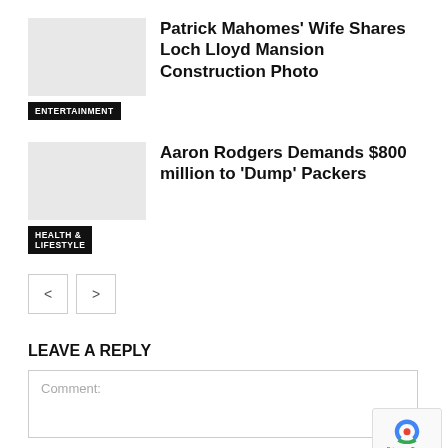[Figure (photo): Thumbnail placeholder for Patrick Mahomes article]
Patrick Mahomes' Wife Shares Loch Lloyd Mansion Construction Photo
ENTERTAINMENT
[Figure (photo): Thumbnail placeholder for Aaron Rodgers article]
Aaron Rodgers Demands $800 million to 'Dump' Packers
HEALTH & LIFESTYLE
LEAVE A REPLY
Comment: